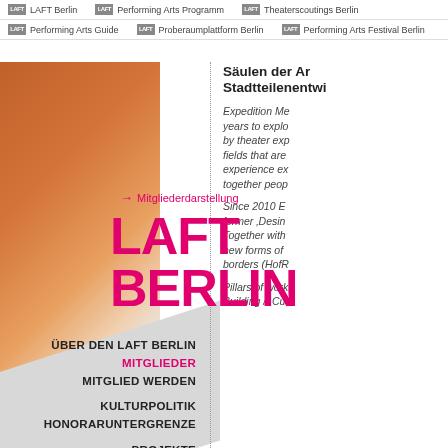LAFT Berlin | Performing Arts Programm | Theaterscoutings Berlin | Performing Arts Guide | Proberaumplattform Berlin | Performing Arts Festival Berlin
→ Mitgliederdarstellung
LAFT BERLIN
ÜBER DEN LAFT BERLIN
MITGLIEDER
MITGLIED WERDEN
KULTURPOLITIK
HONORARUNTERGRENZE
PROJEKTE
VERANSTALTUNGEN
ARBEITSGRUPPEN
Säulen der Ar... Stadtteilen­entwi...
Expedition Me... years to explo... by theater exp... fields that are... experience ex... together peop...
Since 2010 E... former 'Desin... Together with... new forms of... borders (HofR...
Pillars of work... Building // Cu...